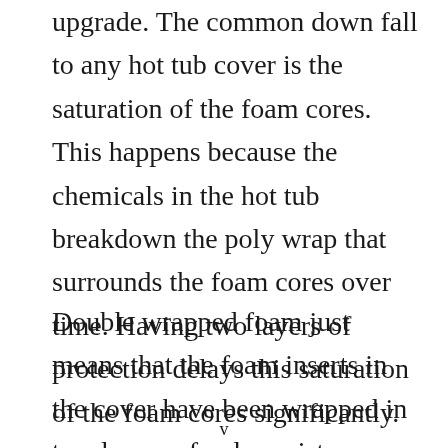upgrade. The common down fall to any hot tub cover is the saturation of the foam cores. This happens because the chemicals in the hot tub breakdown the poly wrap that surrounds the foam cores over time. Having two layers of protection delays this saturation of the foam cores significantly.
Double wrapped foam just means that the foam inserts in the cover have been wrapped in two layers of poly moisture barrier. This
v